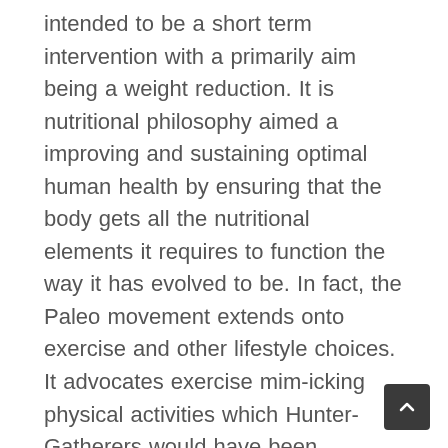intended to be a short term intervention with a primarily aim being a weight reduction. It is nutritional philosophy aimed a improving and sustaining optimal human health by ensuring that the body gets all the nutritional elements it requires to function the way it has evolved to be. In fact, the Paleo movement extends onto exercise and other lifestyle choices. It advocates exercise mim-icking physical activities which Hunter-Gatherers would have been exposed to such as sprints and intense, short duration activity, over long term repetitive cardio exercise. Sunlight exposure and amount and quality of sleep, as well elimination of chronic stress are